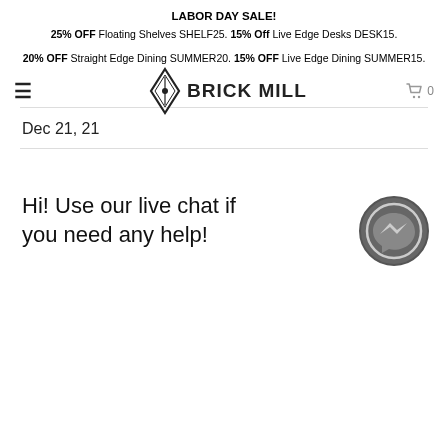LABOR DAY SALE!
25% OFF Floating Shelves SHELF25. 15% Off Live Edge Desks DESK15.
20% OFF Straight Edge Dining SUMMER20. 15% OFF Live Edge Dining SUMMER15.
[Figure (logo): Brick Mill logo with diamond shape and brand name]
Dec 21, 21
Hi! Use our live chat if you need any help!
[Figure (illustration): Messenger chat icon circle button]